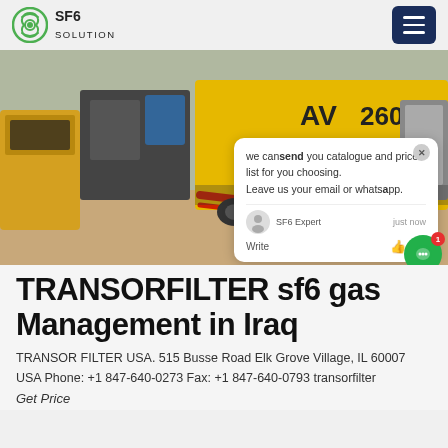SF6 SOLUTION
[Figure (photo): Industrial site with yellow construction/utility trucks and equipment on a brick-paved area. A red ramp or chute extends from one of the vehicles. Yellow truck in background has markings 'AV' and '2606'.]
we can send you catalogue and price list for you choosing. Leave us your email or whatsapp.
TRANSORFILTER sf6 gas Management in Iraq
TRANSOR FILTER USA. 515 Busse Road Elk Grove Village, IL 60007 USA Phone: +1 847-640-0273 Fax: +1 847-640-0793 transorfilter
Get Price